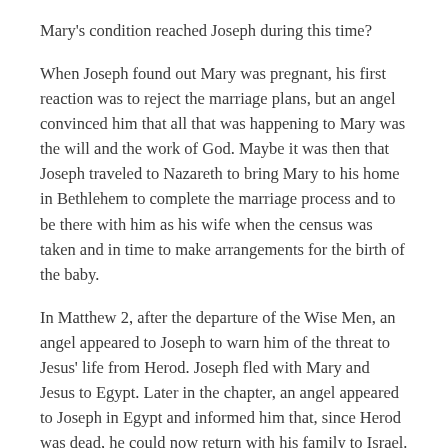Mary's condition reached Joseph during this time?
When Joseph found out Mary was pregnant, his first reaction was to reject the marriage plans, but an angel convinced him that all that was happening to Mary was the will and the work of God. Maybe it was then that Joseph traveled to Nazareth to bring Mary to his home in Bethlehem to complete the marriage process and to be there with him as his wife when the census was taken and in time to make arrangements for the birth of the baby.
In Matthew 2, after the departure of the Wise Men, an angel appeared to Joseph to warn him of the threat to Jesus' life from Herod. Joseph fled with Mary and Jesus to Egypt. Later in the chapter, an angel appeared to Joseph in Egypt and informed him that, since Herod was dead, he could now return with his family to Israel. However, circumstances of history changed Joseph's plans once again.